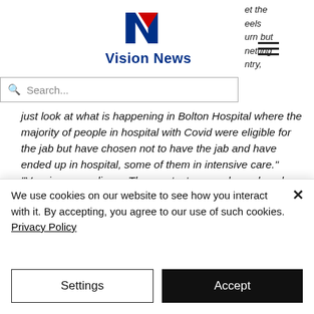[Figure (logo): Vision News logo with red and blue N letter mark and bold blue 'Vision News' text]
et the eels urn but netting ntry,
Search...
just look at what is happening in Bolton Hospital where the majority of people in hospital with Covid were eligible for the jab but have chosen not to have the jab and have ended up in hospital, some of them in intensive care."  "Vaccines save lives.  They protect you and your loved ones and they will help us out of the pandemic."
We use cookies on our website to see how you interact with it. By accepting, you agree to our use of such cookies. Privacy Policy
Settings
Accept